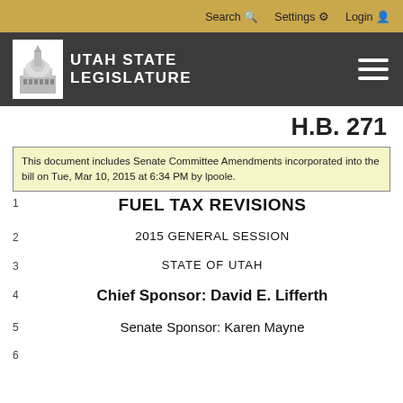Search  Settings  Login
[Figure (logo): Utah State Legislature logo with capitol building icon and text UTAH STATE LEGISLATURE on dark background]
H.B. 271
This document includes Senate Committee Amendments incorporated into the bill on Tue, Mar 10, 2015 at 6:34 PM by lpoole.
FUEL TAX REVISIONS
2015 GENERAL SESSION
STATE OF UTAH
Chief Sponsor: David E. Lifferth
Senate Sponsor: Karen Mayne